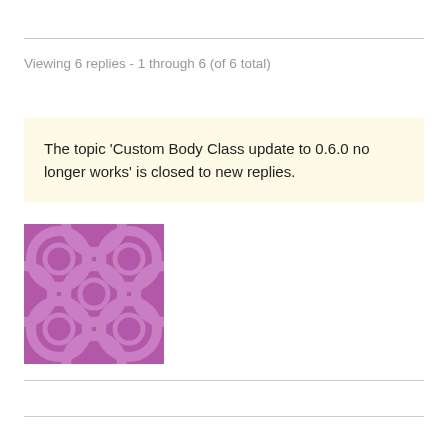Viewing 6 replies - 1 through 6 (of 6 total)
The topic ‘Custom Body Class update to 0.6.0 no longer works’ is closed to new replies.
[Figure (illustration): Purple decorative avatar image with circular pattern motifs on a purple background]
Custom Body Class
Support Threads